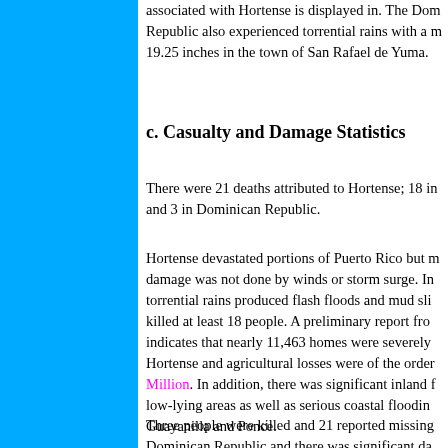associated with Hortense is displayed in. The Dominican Republic also experienced torrential rains with a maximum of 19.25 inches in the town of San Rafael de Yuma.
c. Casualty and Damage Statistics
There were 21 deaths attributed to Hortense; 18 in Puerto Rico and 3 in Dominican Republic.
Hortense devastated portions of Puerto Rico but most of the damage was not done by winds or storm surge. Instead, the torrential rains produced flash floods and mud slides that killed at least 18 people. A preliminary report from Puerto Rico indicates that nearly 11,463 homes were severely damaged by Hortense and agricultural losses were of the order of $200 Million. In addition, there was significant inland flooding of low-lying areas as well as serious coastal flooding near Guayanilla and Ponce.
Three people were killed and 21 reported missing in Dominican Republic and there was significant damage